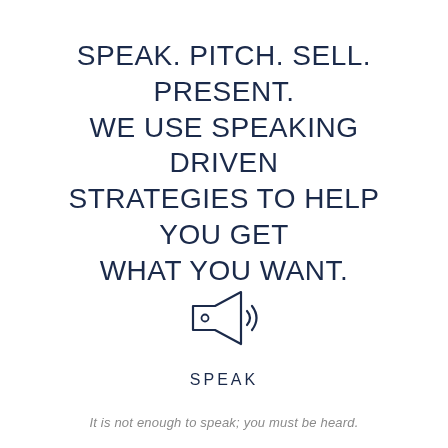SPEAK. PITCH. SELL. PRESENT. WE USE SPEAKING DRIVEN STRATEGIES TO HELP YOU GET WHAT YOU WANT.
[Figure (illustration): A megaphone / bullhorn icon drawn in outline style with dark navy color, with small lines indicating sound waves on the right side.]
SPEAK
It is not enough to speak; you must be heard.